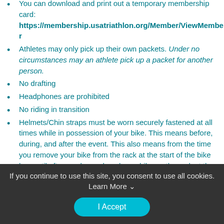You can download and print out a temporary membership card: https://membership.usatriathlon.org/Member/ViewMember
Athletes may only pick up their own packets. Under no circumstances may an athlete pick up a packet for another person.
No drafting
Headphones are prohibited
No riding in transition
Helmets/Chin straps must be worn securely fastened at all times while in possession of your bike. This means before, during, and after the event. This also means from the time you remove your bike from the rack at the start of the bike leg, until after you have placed your bike on the rack at the finish of the bike leg.
Verbal or physical abuse of others is not acceptable or
If you continue to use this site, you consent to use all cookies. Learn More
I Accept